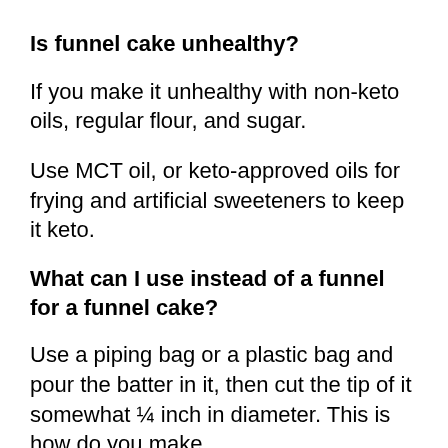Is funnel cake unhealthy?
If you make it unhealthy with non-keto oils, regular flour, and sugar.
Use MCT oil, or keto-approved oils for frying and artificial sweeteners to keep it keto.
What can I use instead of a funnel for a funnel cake?
Use a piping bag or a plastic bag and pour the batter in it, then cut the tip of it somewhat ¼ inch in diameter. This is how do you make